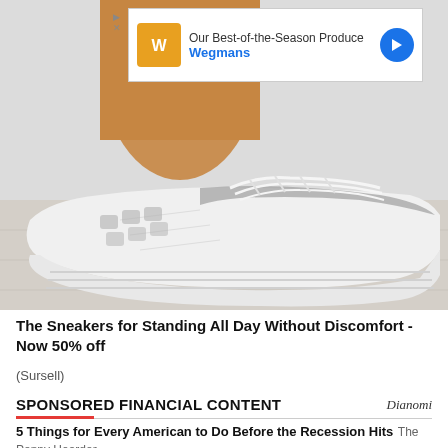[Figure (screenshot): Advertisement banner for Wegmans showing 'Our Best-of-the-Season Produce' with logo and navigation arrow]
[Figure (photo): Photo of white and grey knit sneaker being worn, shown from the side on a light wood floor background]
The Sneakers for Standing All Day Without Discomfort - Now 50% off
(Sursell)
SPONSORED FINANCIAL CONTENT
Dianomi
5 Things for Every American to Do Before the Recession Hits  The Penny Hoarder
The Upcoming Changes To Medicare That Seniors Need To Know  Nation
4 Things You Can Spend Money on That Will Actually Make You Richer  The Penny Hoarder